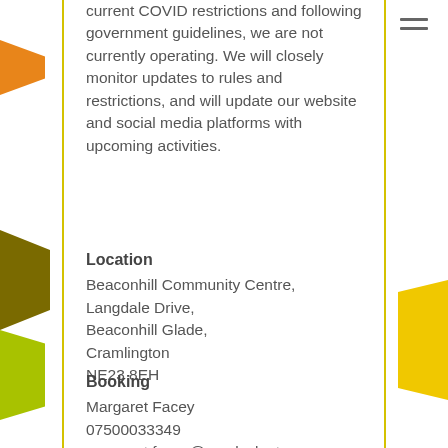current COVID restrictions and following government guidelines, we are not currently operating. We will closely monitor updates to rules and restrictions, and will update our website and social media platforms with upcoming activities.
Location
Beaconhill Community Centre,
Langdale Drive,
Beaconhill Glade,
Cramlington
NE23 8EH
Booking
Margaret Facey
07500033349
margaret.facey@royalvoluntaryservice.org.uk